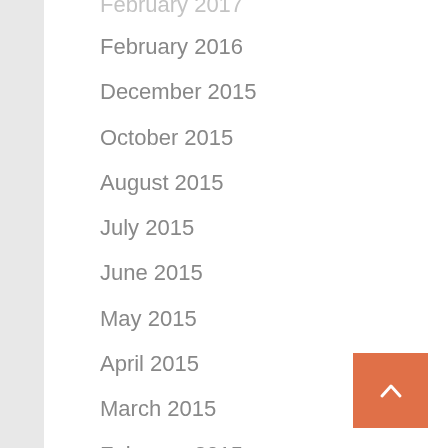February 2016
December 2015
October 2015
August 2015
July 2015
June 2015
May 2015
April 2015
March 2015
February 2015
January 2015
December 2014
November 2014
October 2014
November 2013